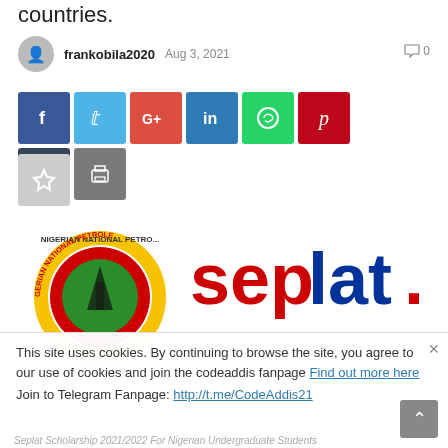countries.
frankobila2020  Aug 3, 2021  0
[Figure (screenshot): Social media share buttons: Facebook, Twitter, Google+, LinkedIn, WhatsApp, Pinterest, Tumblr, Print, and a favorites/star button]
[Figure (logo): NNPC (Nigerian National Petroleum Corporation) logo and Seplat logo side by side]
This site uses cookies. By continuing to browse the site, you agree to our use of cookies and join the codeaddis fanpage Find out more here
NNPC/SEPLAT SCHOLARSHIP
Join to Telegram Fanpage: http://t.me/CodeAddis21
Seplat Scholarship 2021/2022 For Nigerian Undergraduate Students